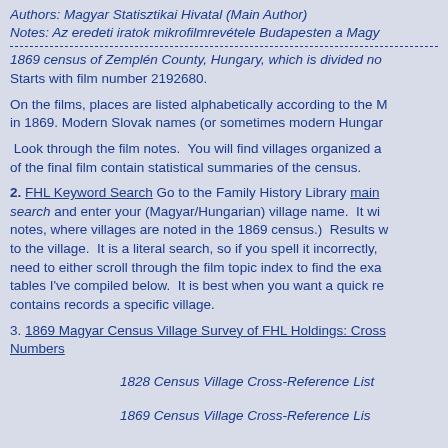Authors:  Magyar Statisztikai Hivatal (Main Author)
Notes:  Az eredeti iratok mikrofilmrevétele Budapesten a Magy...
1869 census of Zemplén County, Hungary, which is divided no... Starts with film number 2192680.
On the films, places are listed alphabetically according to the M... in 1869. Modern Slovak names (or sometimes modern Hungar...
Look through the film notes.  You will find villages organized a... of the final film contain statistical summaries of the census.
2. FHL Keyword Search Go to the Family History Library main... search and enter your (Magyar/Hungarian) village name.  It wi... notes, where villages are noted in the 1869 census.)  Results w... to the village.  It is a literal search, so if you spell it incorrectly,... need to either scroll through the film topic index to find the exa... tables I've compiled below.  It is best when you want a quick re... contains records a specific village.
3. 1869 Magyar Census Village Survey of FHL Holdings: Cross... Numbers
1828 Census Village Cross-Reference List
1869 Census Village Cross-Reference List...